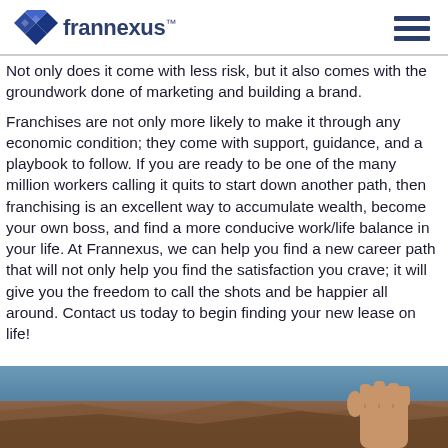[Figure (logo): Frannexus logo with diamond/rhombus icon in blue and a hamburger menu icon on the right]
Not only does it come with less risk, but it also comes with the groundwork done of marketing and building a brand.
Franchises are not only more likely to make it through any economic condition; they come with support, guidance, and a playbook to follow. If you are ready to be one of the many million workers calling it quits to start down another path, then franchising is an excellent way to accumulate wealth, become your own boss, and find a more conducive work/life balance in your life. At Frannexus, we can help you find a new career path that will not only help you find the satisfaction you crave; it will give you the freedom to call the shots and be happier all around. Contact us today to begin finding your new lease on life!
[Figure (photo): Partial photo at bottom of page showing what appears to be a fist or hand gesture against a landscape background]